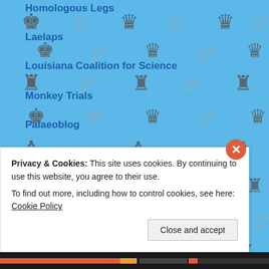[Figure (illustration): Blue background with repeating pattern of chess pieces (kings, rooks, bishops) and pigeon/bird illustrations in gray tones]
Homologous Legs
Laelaps
Louisiana Coalition for Science
Monkey Trials
Palaeoblog
Panda's Thumb
Paranormal Amerika
Rationally Speaking
Recursivity
Sandwalk
Science League of America
Skepticblog
Stones and Bones
Privacy & Cookies: This site uses cookies. By continuing to use this website, you agree to their use.
To find out more, including how to control cookies, see here: Cookie Policy
Close and accept